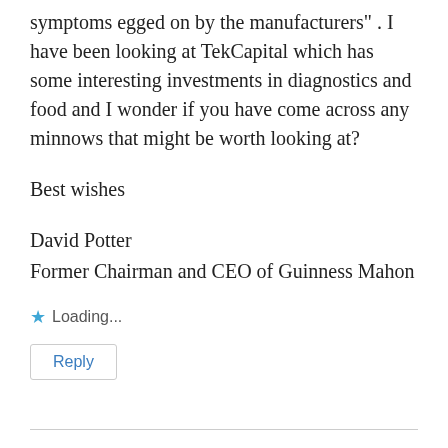symptoms egged on by the manufacturers" . I have been looking at TekCapital which has some interesting investments in diagnostics and food and I wonder if you have come across any minnows that might be worth looking at?
Best wishes
David Potter
Former Chairman and CEO of Guinness Mahon
Loading...
Reply